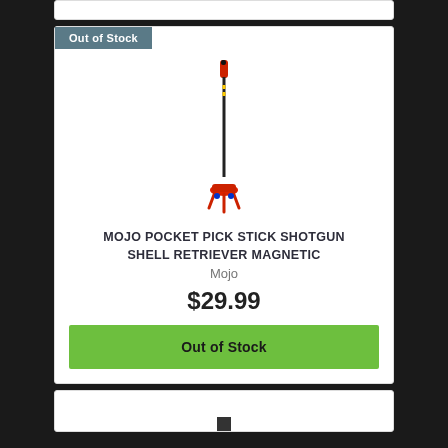[Figure (other): Product image of MOJO Pocket Pick Stick Shotgun Shell Retriever Magnetic - a long thin stick with a red/black handle at top and red/orange magnetic retrieval head at bottom]
MOJO POCKET PICK STICK SHOTGUN SHELL RETRIEVER MAGNETIC
Mojo
$29.99
Out of Stock